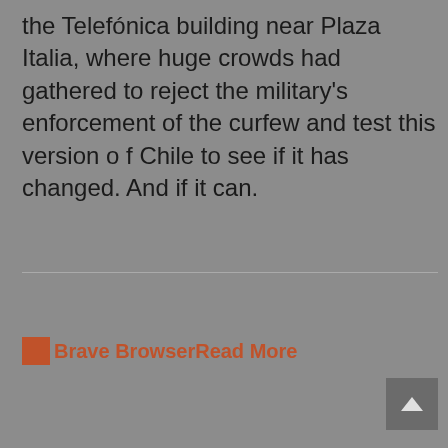the Telefónica building near Plaza Italia, where huge crowds had gathered to reject the military's enforcement of the curfew and test this version o f Chile to see if it has changed. And if it can.
[Figure (other): Brave Browser logo icon (broken image placeholder) followed by 'Read More' link text in orange/rust color]
[Figure (other): Scroll-to-top button: dark grey square with upward-pointing arrow in bottom-right corner]